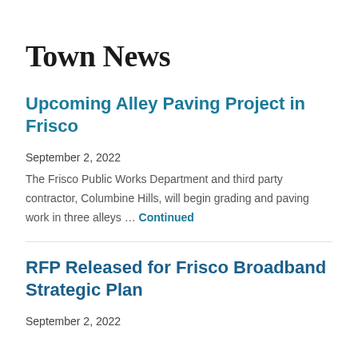Town News
Upcoming Alley Paving Project in Frisco
September 2, 2022
The Frisco Public Works Department and third party contractor, Columbine Hills, will begin grading and paving work in three alleys … Continued
RFP Released for Frisco Broadband Strategic Plan
September 2, 2022